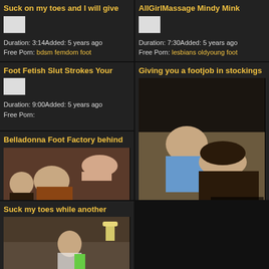Suck on my toes and I will give
Duration: 3:14Added: 5 years ago
Free Porn: bdsm femdom foot
AllGirlMassage Mindy Mink
Duration: 7:30Added: 5 years ago
Free Porn: lesbians oldyoung foot
Foot Fetish Slut Strokes Your
Duration: 9:00Added: 5 years ago
Free Porn:
Giving you a footjob in stockings
[Figure (photo): Video thumbnail showing a man and woman on a couch, with watermark Sock Fixation.com]
Duration: 7:00Added: 5 years ago
Free Porn:
Belladonna Foot Factory behind
[Figure (photo): Video thumbnail showing people in a scene]
Suck my toes while another
[Figure (photo): Video thumbnail showing a woman standing]